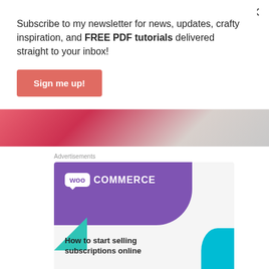Subscribe to my newsletter for news, updates, crafty inspiration, and FREE PDF tutorials delivered straight to your inbox!
Sign me up!
[Figure (photo): Partial photo strip showing crafting materials with red/pink tones]
Advertisements
[Figure (infographic): WooCommerce advertisement banner: How to start selling subscriptions online]